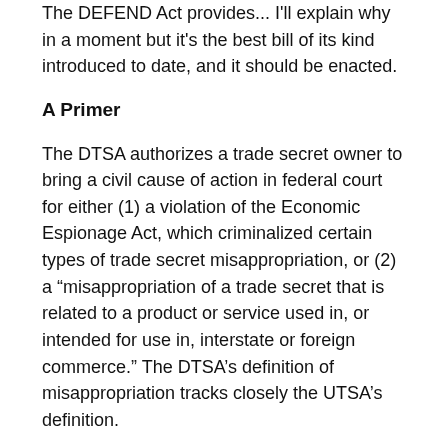The DEFEND Act provides... I'll explain why in a moment but it's the best bill of its kind introduced to date, and it should be enacted.
A Primer
The DTSA authorizes a trade secret owner to bring a civil cause of action in federal court for either (1) a violation of the Economic Espionage Act, which criminalized certain types of trade secret misappropriation, or (2) a “misappropriation of a trade secret that is related to a product or service used in, or intended for use in, interstate or foreign commerce.” The DTSA’s definition of misappropriation tracks closely the UTSA’s definition.
The DTSA would also:
Grant courts the power to issue ex parte orders “for the preservation of evidence” and “for the seizure of any property used…to commit” the alleged